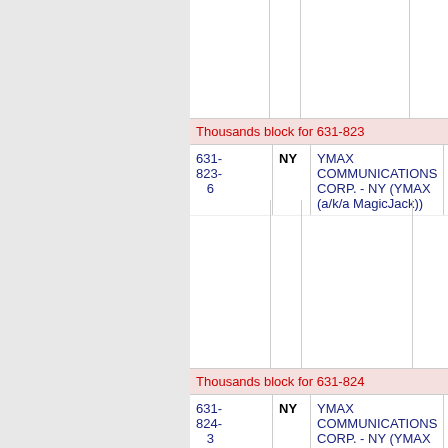Thousands block for 631-823
| Number | State | Company Name | Address |
| --- | --- | --- | --- |
| 631-
823-
6 | NY | YMAX COMMUNICATIONS CORP. - NY (YMAX (a/k/a MagicJack)) | 282E B... |
Thousands block for 631-824
| Number | State | Company Name | Address |
| --- | --- | --- | --- |
| 631-
824-
3 | NY | YMAX COMMUNICATIONS CORP. - NY (YMAX (a/k/a MagicJack)) | 282E H... |